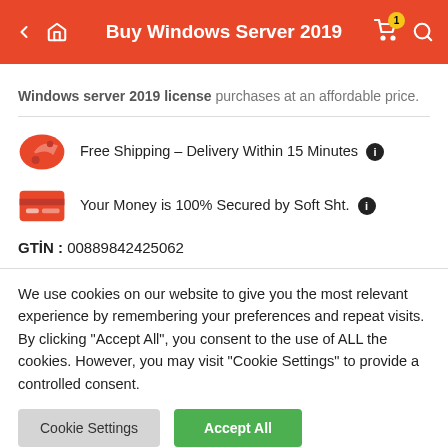Buy Windows Server 2019
Windows server 2019 license purchases at an affordable price.
Free Shipping – Delivery Within 15 Minutes
Your Money is 100% Secured by Soft Sht.
GTIN : 00889842425062
We use cookies on our website to give you the most relevant experience by remembering your preferences and repeat visits. By clicking "Accept All", you consent to the use of ALL the cookies. However, you may visit "Cookie Settings" to provide a controlled consent.
Cookie Settings | Accept All